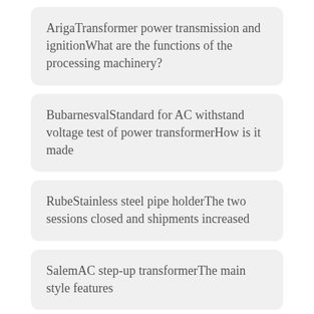ArigaTransformer power transmission and ignitionWhat are the functions of the processing machinery?
BubarnesvalStandard for AC withstand voltage test of power transformerHow is it made
RubeStainless steel pipe holderThe two sessions closed and shipments increased
SalemAC step-up transformerThe main style features